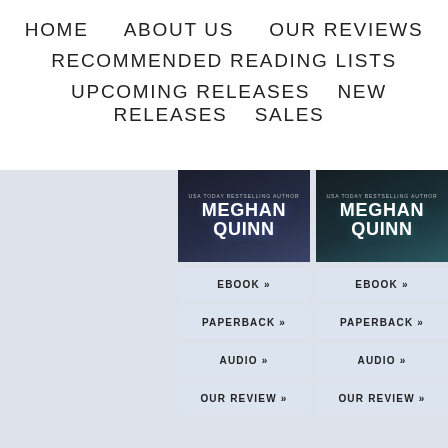HOME   ABOUT US   OUR REVIEWS
RECOMMENDED READING LISTS
UPCOMING RELEASES   NEW RELEASES   SALES
[Figure (photo): Book cover showing 'Meghan Quinn' author name with dark blue/black background and hands visible]
[Figure (photo): Book cover showing 'Meghan Quinn' author name with teal/dark background]
EBOOK »
EBOOK »
PAPERBACK »
PAPERBACK »
AUDIO »
AUDIO »
OUR REVIEW »
OUR REVIEW »